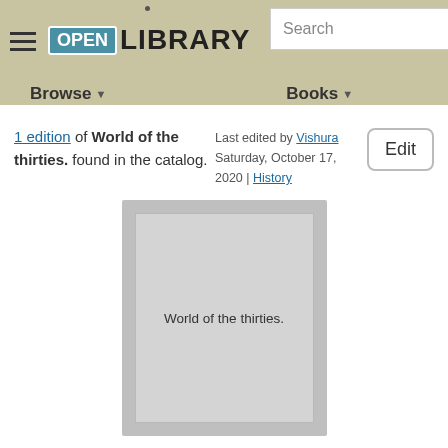Open Library — Browse | Books | Search
1 edition of World of the thirties. found in the catalog.
Last edited by Vishura Saturday, October 17, 2020 | History
Edit
[Figure (illustration): Book cover placeholder showing 'World of the thirties.' text on a grey background]
World of the thirties.